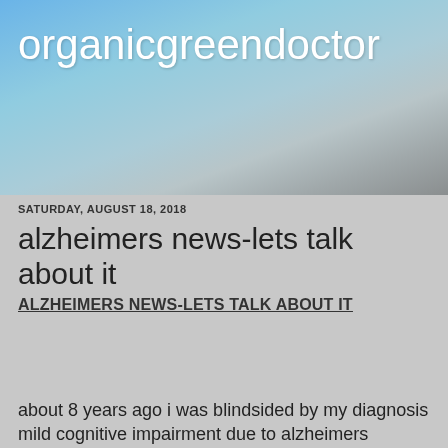[Figure (photo): Website header banner showing a blue sky with clouds and a road/landscape scene, with site title 'organicgreendoctor' overlaid in white text]
organicgreendoctor
SATURDAY, AUGUST 18, 2018
alzheimers news-lets talk about it
ALZHEIMERS NEWS-LETS TALK ABOUT IT
about 8 years ago i was blindsided by my diagnosis mild cognitive impairment due to alzheimers disease